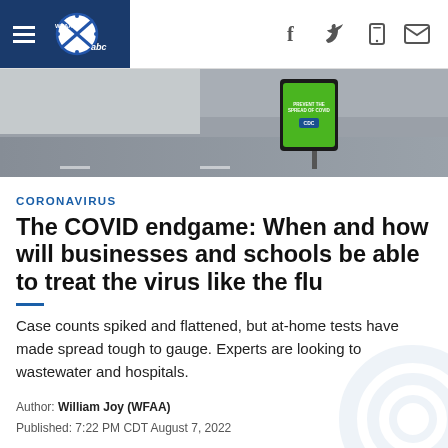[Figure (screenshot): WFAA ABC news website navigation bar with hamburger menu, WFAA/ABC logo, and social media icons (Facebook, Twitter, mobile, email)]
[Figure (photo): Outdoor photo showing a road and a digital sign/kiosk displaying a COVID-19 prevention message with a green background and CDC logo]
CORONAVIRUS
The COVID endgame: When and how will businesses and schools be able to treat the virus like the flu
Case counts spiked and flattened, but at-home tests have made spread tough to gauge. Experts are looking to wastewater and hospitals.
Author: William Joy (WFAA)
Published: 7:22 PM CDT August 7, 2022